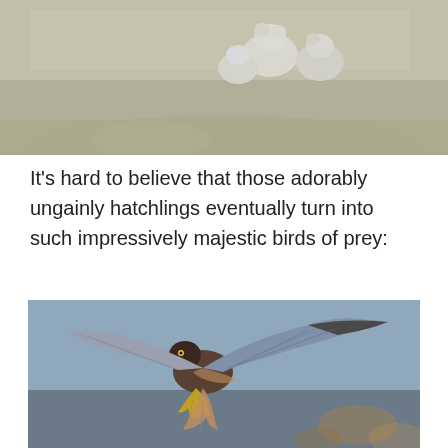[Figure (photo): Top portion of a photo showing bird hatchlings (chicks) in a nest made of sandy/gravelly material, with fluffy grey-white downy chicks visible.]
It's hard to believe that those adorably ungainly hatchlings eventually turn into such impressively majestic birds of prey:
[Figure (photo): A hawk (bird of prey) photographed mid-flight with wings fully spread, talons extended downward, against a blurred blue-grey background with some brown bokeh in the lower right. The bird has brown and white patterned feathers.]